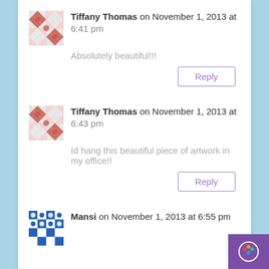Tiffany Thomas on November 1, 2013 at 6:41 pm
Absolutely beautiful!!!
Reply
Tiffany Thomas on November 1, 2013 at 6:43 pm
Id hang this beautiful piece of artwork in my office!!
Reply
Mansi on November 1, 2013 at 6:55 pm